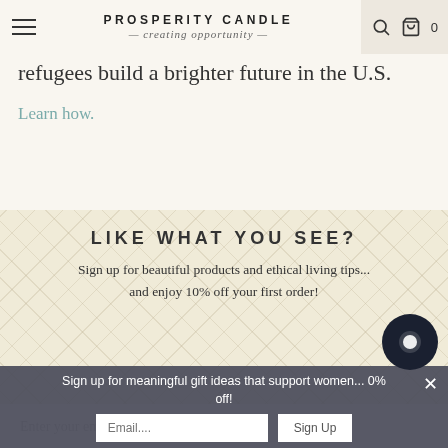PROSPERITY CANDLE — creating opportunity —
refugees build a brighter future in the U.S.
Learn how.
LIKE WHAT YOU SEE?
Sign up for beautiful products and ethical living tips... and enjoy 10% off your first order!
Enter your email address...
Sign up for meaningful gift ideas that support women... 0% off!
Email....
Sign Up